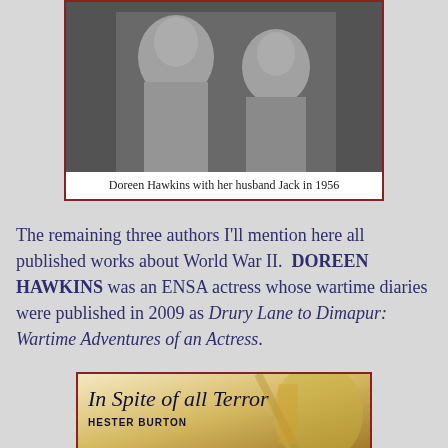[Figure (photo): Black and white photograph of Doreen Hawkins with her husband Jack in 1956, framed with a dark red border]
Doreen Hawkins with her husband Jack in 1956
The remaining three authors I'll mention here all published works about World War II. DOREEN HAWKINS was an ENSA actress whose wartime diaries were published in 2009 as Drury Lane to Dimapur: Wartime Adventures of an Actress.
[Figure (photo): Book cover of 'In Spite of all Terror' by Hester Burton, showing illustrated cover art with yellow and colorful illustration, framed with a dark red border]